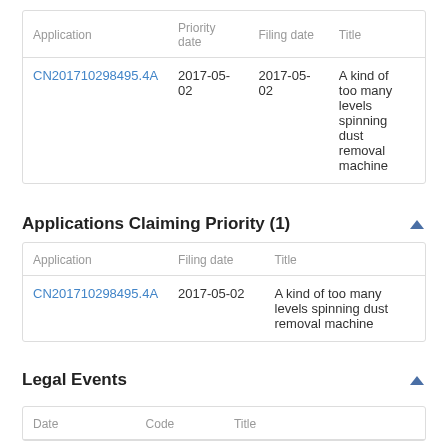| Application | Priority date | Filing date | Title |
| --- | --- | --- | --- |
| CN201710298495.4A | 2017-05-02 | 2017-05-02 | A kind of too many levels spinning dust removal machine |
Applications Claiming Priority (1)
| Application | Filing date | Title |
| --- | --- | --- |
| CN201710298495.4A | 2017-05-02 | A kind of too many levels spinning dust removal machine |
Legal Events
| Date | Code | Title |
| --- | --- | --- |